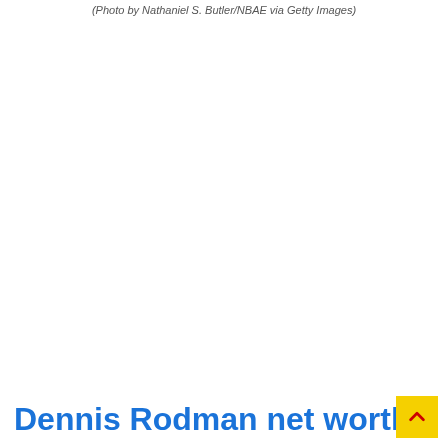(Photo by Nathaniel S. Butler/NBAE via Getty Images)
Dennis Rodman net worth